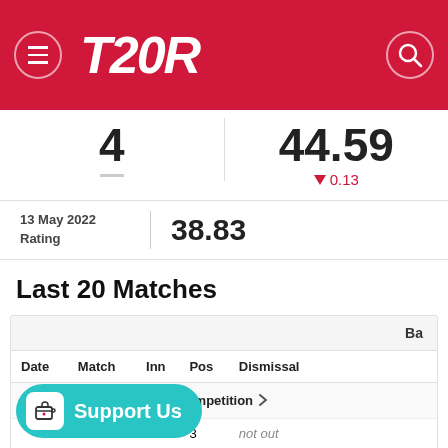T20R
4
44.59
▼ 0.13
|  |  |
| --- | --- |
| 13 May 2022 Rating | 38.83 |
Last 20 Matches
| Date | Match | Inn | Pos | Dismissal |
| --- | --- | --- | --- | --- |
| 2022 The Hundred Men's Competition |  |  |  |  |
|  | …NS-M | 2 | 3 | not out |
|  | …SB-M | 1 | 3 | c. JM Vince b. JK Fuller |